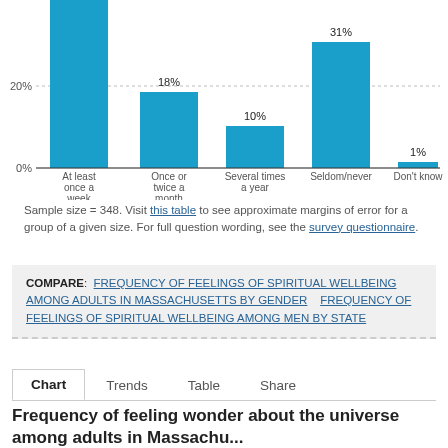[Figure (bar-chart): Frequency of spiritual wellbeing feelings]
Sample size = 348. Visit this table to see approximate margins of error for a group of a given size. For full question wording, see the survey questionnaire.
COMPARE: FREQUENCY OF FEELINGS OF SPIRITUAL WELLBEING AMONG ADULTS IN MASSACHUSETTS BY GENDER   FREQUENCY OF FEELINGS OF SPIRITUAL WELLBEING AMONG MEN BY STATE
Chart   Trends   Table   Share
Frequency of feeling wonder about the universe among adults in Massachusetts...